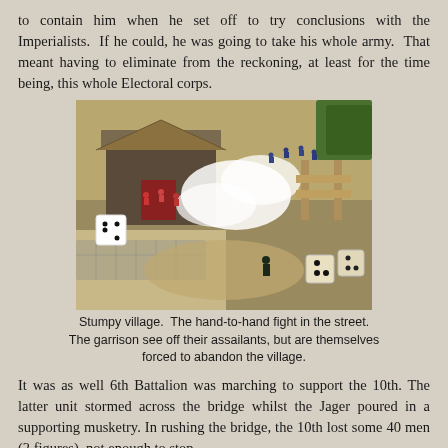to contain him when he set off to try conclusions with the Imperialists. If he could, he was going to take his whole army. That meant having to eliminate from the reckoning, at least for the time being, this whole Electoral corps.
[Figure (photo): Miniature wargame scene showing hand-to-hand combat in a village street. Toy soldiers fighting near a building, with white smoke effects, dice visible on the table, and a bridge or fence structure on the right side.]
Stumpy village. The hand-to-hand fight in the street. The garrison see off their assailants, but are themselves forced to abandon the village.
It was as well 6th Battalion was marching to support the 10th. The latter unit stormed across the bridge whilst the Jager poured in a supporting musketry. In rushing the bridge, the 10th lost some 40 men (2 figures), not enough to stop